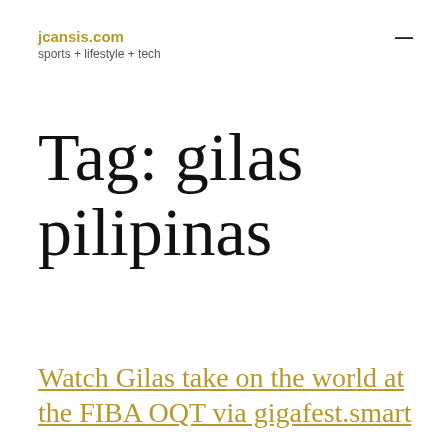jcansis.com
sports + lifestyle + tech
Tag: gilas pilipinas
Watch Gilas take on the world at the FIBA OQT via gigafest.smart